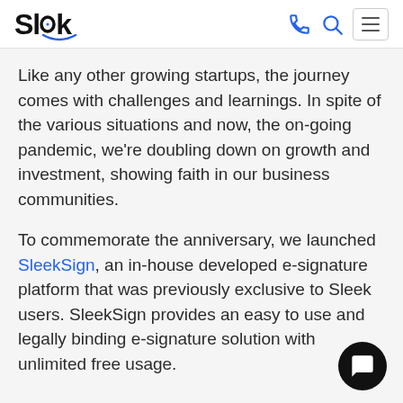Sleek
Like any other growing startups, the journey comes with challenges and learnings. In spite of the various situations and now, the on-going pandemic, we're doubling down on growth and investment, showing faith in our business communities.
To commemorate the anniversary, we launched SleekSign, an in-house developed e-signature platform that was previously exclusive to Sleek users. SleekSign provides an easy to use and legally binding e-signature solution with unlimited free usage.